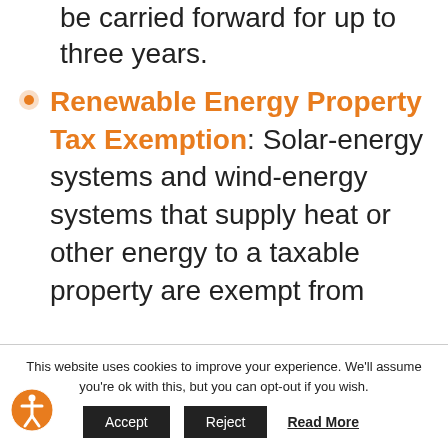be carried forward for up to three years.
Renewable Energy Property Tax Exemption: Solar-energy systems and wind-energy systems that supply heat or other energy to a taxable property are exempt from
This website uses cookies to improve your experience. We'll assume you're ok with this, but you can opt-out if you wish.
Accept  Reject  Read More